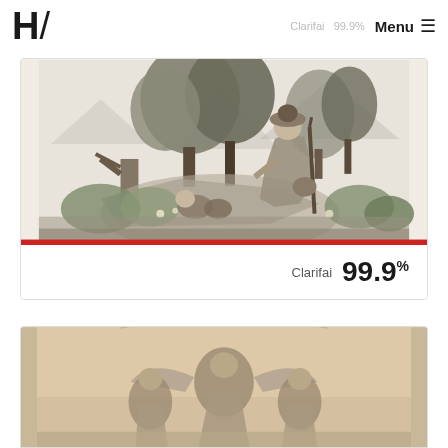Microsoft  82.9%
[Figure (logo): H/ logo mark in bold sans-serif]
Clarifai   99.9%   Menu ≡
[Figure (illustration): Black and white engraving of a woodland scene with a standing figure in historical dress holding a staff, mountains and trees in background, red bar at bottom. Footer: Clarifai 99.9%]
[Figure (illustration): Partial view of a sepia/warm-toned classical illustration with figures, partially cut off at bottom of page]